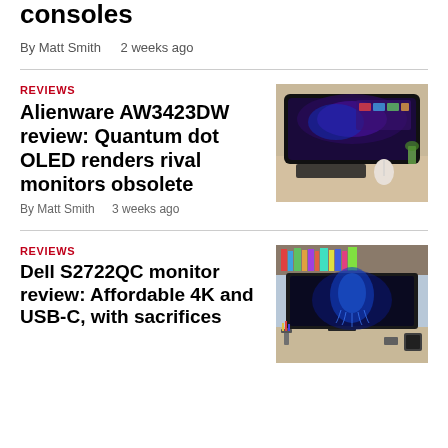consoles
By Matt Smith   2 weeks ago
REVIEWS
Alienware AW3423DW review: Quantum dot OLED renders rival monitors obsolete
[Figure (photo): Photo of a curved ultrawide monitor (Alienware AW3423DW) on a desk with keyboard and mouse]
By Matt Smith   3 weeks ago
REVIEWS
Dell S2722QC monitor review: Affordable 4K and USB-C, with sacrifices
[Figure (photo): Photo of the Dell S2722QC monitor on a desk showing a blue jellyfish wallpaper]